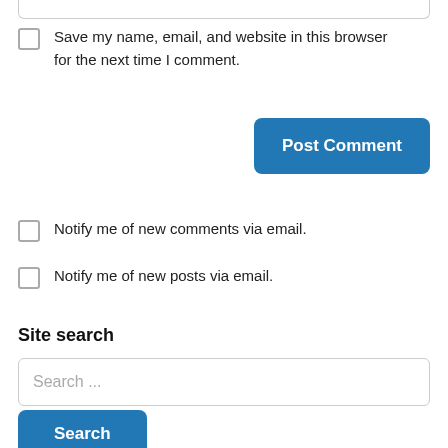Save my name, email, and website in this browser for the next time I comment.
Post Comment
Notify me of new comments via email.
Notify me of new posts via email.
Site search
Search ...
Search